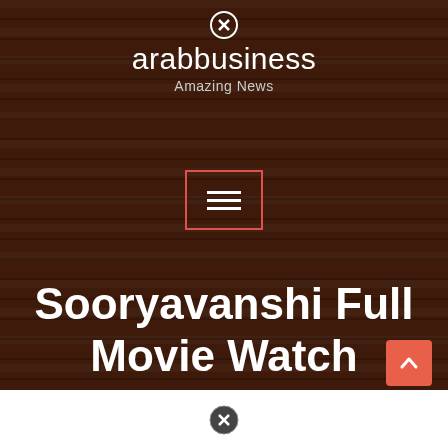arabbusiness — Amazing News
[Figure (screenshot): Wood-textured dark brown background covering the upper portion of the page]
[Figure (other): Hamburger menu button with red border rectangle and three white horizontal bars]
Sooryavanshi Full Movie Watch Online Free Hd
[Figure (other): Salmon/coral colored scroll-to-top button with upward arrow in bottom right]
[Figure (other): Close (X in circle) icon at the bottom center]